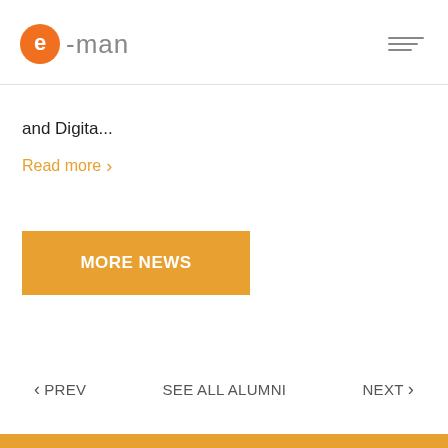e-man logo and navigation menu
and Digita...
Read more
MORE NEWS
< PREV   SEE ALL ALUMNI   NEXT >